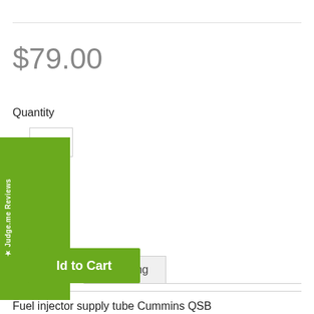$79.00
Quantity
[Figure (screenshot): Judge.me Reviews green vertical sidebar tab with star icon]
Add to Cart
Details
Shipping
Fuel injector supply tube Cummins QSB